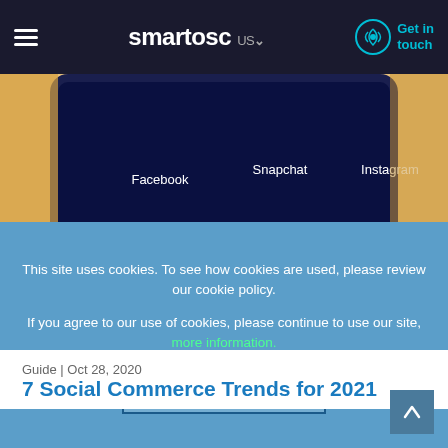smartosc US — Get in touch
[Figure (photo): Close-up of a smartphone screen showing app icons: Facebook, Snapchat, Instagram (top row), Chrome, Gmail, Spotify, Messenger (bottom row) on a dark blue background, hand holding phone visible.]
Guide | Oct 28, 2020
7 Social Commerce Trends for 2021
This site uses cookies. To see how cookies are used, please review our cookie policy.

If you agree to our use of cookies, please continue to use our site, more information.
AGREE